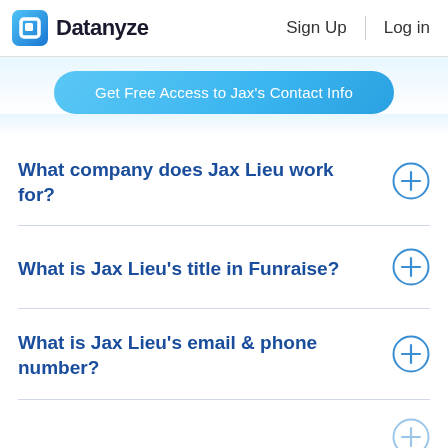Datanyze  Sign Up  Log in
Get Free Access to Jax's Contact Info
What company does Jax Lieu work for?
What is Jax Lieu's title in Funraise?
What is Jax Lieu's email & phone number?
(partially visible fourth question)